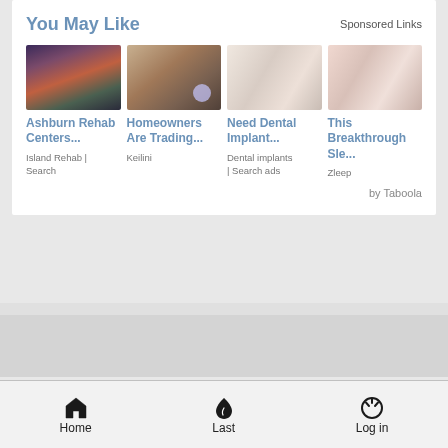You May Like
Sponsored Links
[Figure (photo): Building/hotel by waterfront with dramatic sky]
[Figure (photo): Security camera mounted under a lamp]
[Figure (photo): Woman holding dental implants]
[Figure (photo): Woman sleeping wearing a smartwatch]
Ashburn Rehab Centers...
Homeowners Are Trading...
Need Dental Implant...
This Breakthrough Sle...
Island Rehab | Search
Keilini
Dental implants | Search ads
Zleep
by Taboola
Page 3 of 3